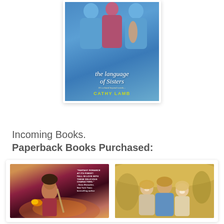[Figure (photo): Book cover of 'The Language of Sisters' by Cathy Lamb, showing young girls in blue dresses, displayed with a white border and drop shadow]
Incoming Books.
Paperback Books Purchased:
[Figure (photo): Fantasy book cover featuring a warrior woman with fire, with quote: 'FANTASY ROMANCE AT ITS FINEST! FALL IN LOVE WITH THESE DELICIOUS CHARACTERS.' - Gena Showalter, New York Times bestselling author]
[Figure (photo): Book cover showing three young girls hugging and laughing outdoors]